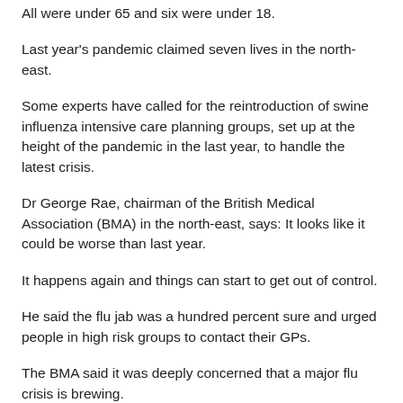All were under 65 and six were under 18.
Last year's pandemic claimed seven lives in the north-east.
Some experts have called for the reintroduction of swine influenza intensive care planning groups, set up at the height of the pandemic in the last year, to handle the latest crisis.
Dr George Rae, chairman of the British Medical Association (BMA) in the north-east, says: It looks like it could be worse than last year.
It happens again and things can start to get out of control.
He said the flu jab was a hundred percent sure and urged people in high risk groups to contact their GPs.
The BMA said it was deeply concerned that a major flu crisis is brewing.
Dr Lawrence Buckman, chairman of the BMA's GPs Committee, has written to the government urging it to step